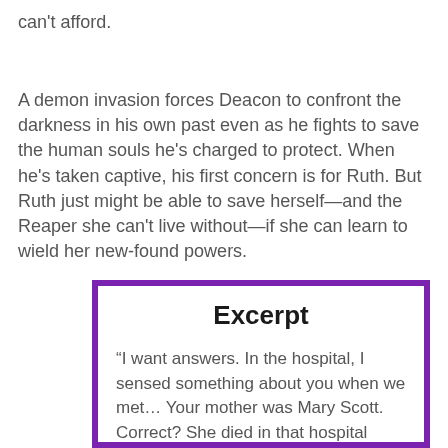can't afford.
A demon invasion forces Deacon to confront the darkness in his own past even as he fights to save the human souls he's charged to protect. When he's taken captive, his first concern is for Ruth. But Ruth just might be able to save herself—and the Reaper she can't live without—if she can learn to wield her new-found powers.
Excerpt
“I want answers. In the hospital, I sensed something about you when we met… Your mother was Mary Scott. Correct? She died in that hospital room